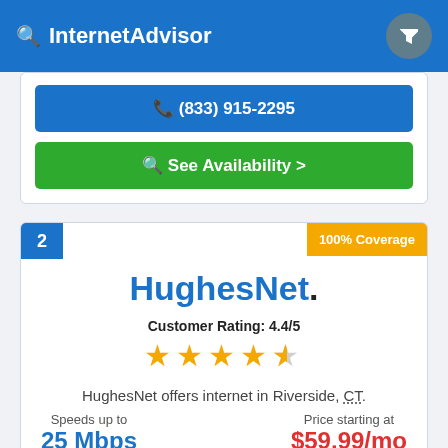InternetAdvisor
(833) 915-2295
See Availability >
2
100% Coverage
[Figure (logo): HughesNet logo in blue and dark text]
Customer Rating: 4.4/5
[Figure (other): 4.4 out of 5 stars rating — 4 full gold stars and 1 half gold star]
HughesNet offers internet in Riverside, CT.
Speeds up to
25 Mbps
Price starting at
$59.99/mo
(866) 245-7479